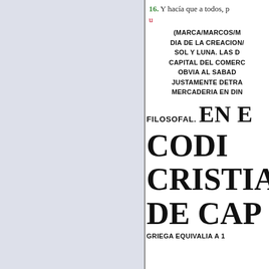16. Y hacía que a todos, p... un...
(MARCA/MARCOS/MA... DIA DE LA CREACION/... SOL Y LUNA. LAS D... CAPITAL DEL COMERC... OBVIA AL SABAD... JUSTAMENTE DETRA... MERCADERIA EN DIN...
FILOSOFAL. EN E... CODI... CRISTIA... DE CAP... GRIEGA EQUIVALIA A 1...